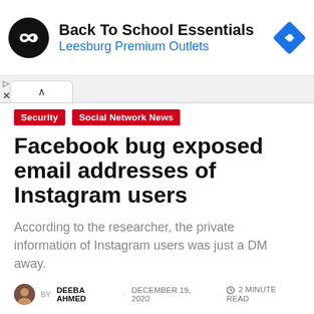[Figure (other): Advertisement banner: circular black logo with white infinity/arrow symbol, text 'Back To School Essentials' in bold black and 'Leesburg Premium Outlets' in blue, blue diamond navigation icon on right]
Security   Social Network News
Facebook bug exposed email addresses of Instagram users
According to the researcher, the private information of Instagram users was just a DM away.
BY DEEBA AHMED · DECEMBER 19, 2020 · 2 MINUTE READ